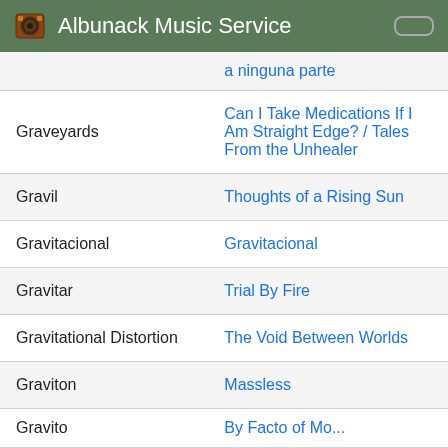Albunack Music Service
| Artist | Album |
| --- | --- |
|  | a ninguna parte |
| Graveyards | Can I Take Medications If I Am Straight Edge? / Tales From the Unhealer |
| Gravil | Thoughts of a Rising Sun |
| Gravitacional | Gravitacional |
| Gravitar | Trial By Fire |
| Gravitational Distortion | The Void Between Worlds |
| Graviton | Massless |
| Gravito... | By Facto of Mo... |